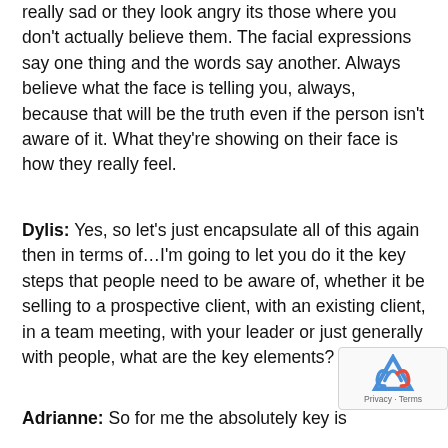really sad or they look angry its those where you don't actually believe them. The facial expressions say one thing and the words say another. Always believe what the face is telling you, always, because that will be the truth even if the person isn't aware of it. What they're showing on their face is how they really feel.
Dylis: Yes, so let's just encapsulate all of this again then in terms of…I'm going to let you do it the key steps that people need to be aware of, whether it be selling to a prospective client, with an existing client, in a team meeting, with your leader or just generally with people, what are the key elements?
Adrianne: So for me the absolutely key is